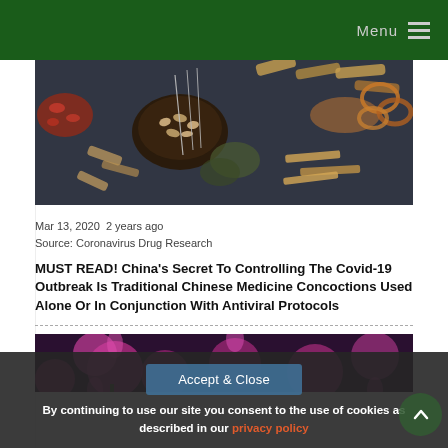Menu
[Figure (photo): Overhead photo of Chinese herbal medicine ingredients: bowls with dried roots, seeds, herbs, acupuncture needles, and dried slices arranged on a dark surface.]
Mar 13, 2020  2 years ago
Source: Coronavirus Drug Research
MUST READ! China's Secret To Controlling The Covid-19 Outbreak Is Traditional Chinese Medicine Concoctions Used Alone Or In Conjunction With Antiviral Protocols
[Figure (photo): Partial view of purple/pink flowers, bottom portion of page cut off.]
Accept & Close
By continuing to use our site you consent to the use of cookies as described in our privacy policy